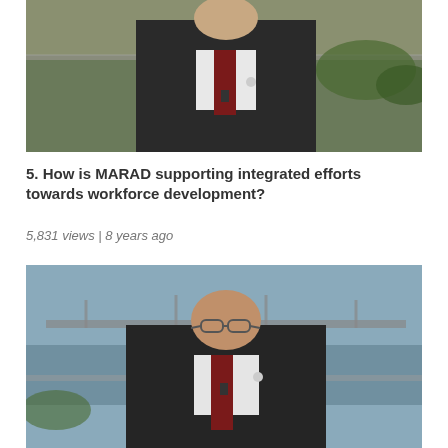[Figure (photo): Man in dark suit with maroon tie and lapel pin seated outdoors near chain-link fence]
5. How is MARAD supporting integrated efforts towards workforce development?
5,831 views | 8 years ago
[Figure (photo): Bald man with glasses in dark suit with maroon tie and lapel pin seated outdoors near waterfront with bridge in background]